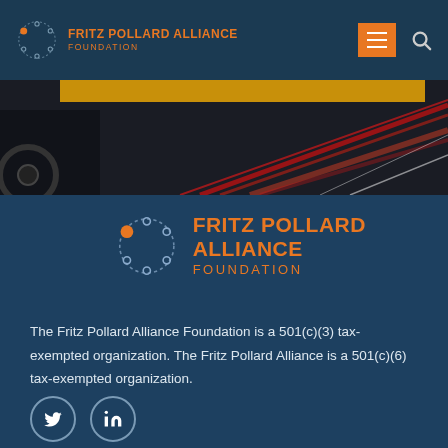FRITZ POLLARD ALLIANCE FOUNDATION
[Figure (photo): Hero banner with gold bar at top and light streaks on dark background with a car wheel shadow visible at left]
[Figure (logo): Fritz Pollard Alliance Foundation logo — circular dotted emblem with orange dot and text FRITZ POLLARD ALLIANCE FOUNDATION in orange]
The Fritz Pollard Alliance Foundation is a 501(c)(3) tax-exempted organization. The Fritz Pollard Alliance is a 501(c)(6) tax-exempted organization.
[Figure (other): Twitter and LinkedIn social media icon circles]